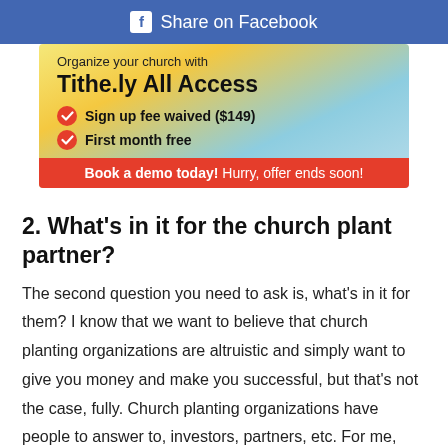Share on Facebook
[Figure (infographic): Advertisement banner for Tithe.ly All Access with gradient yellow-to-blue background. Text: 'Organize your church with Tithe.ly All Access'. Two checkmarks: 'Sign up fee waived ($149)' and 'First month free'. Red bar at bottom: 'Book a demo today! Hurry, offer ends soon!']
2. What’s in it for the church plant partner?
The second question you need to ask is, what's in it for them? I know that we want to believe that church planting organizations are altruistic and simply want to give you money and make you successful, but that’s not the case, fully. Church planting organizations have people to answer to, investors, partners, etc. For me, one of the benefits